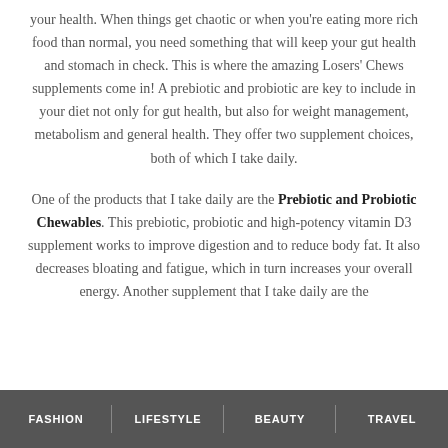your health. When things get chaotic or when you're eating more rich food than normal, you need something that will keep your gut health and stomach in check. This is where the amazing Losers' Chews supplements come in! A prebiotic and probiotic are key to include in your diet not only for gut health, but also for weight management, metabolism and general health. They offer two supplement choices, both of which I take daily.
One of the products that I take daily are the Prebiotic and Probiotic Chewables. This prebiotic, probiotic and high-potency vitamin D3 supplement works to improve digestion and to reduce body fat. It also decreases bloating and fatigue, which in turn increases your overall energy. Another supplement that I take daily are the
FASHION | LIFESTYLE | BEAUTY | TRAVEL